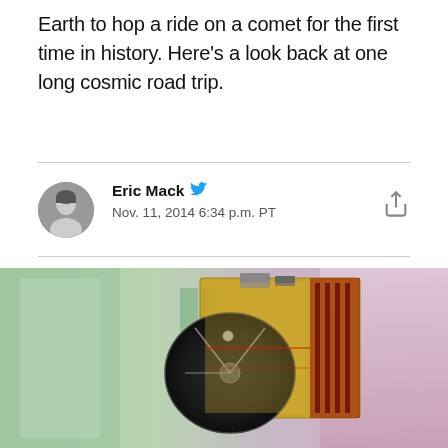Earth to hop a ride on a comet for the first time in history. Here's a look back at one long cosmic road trip.
Eric Mack
Nov. 11, 2014 6:34 p.m. PT
[Figure (photo): Photo of a spacecraft or satellite with a large dish antenna in a testing facility with green and pink/purple walls]